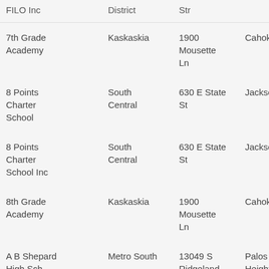| FILO Inc | District | Address | City |  |
| --- | --- | --- | --- | --- |
| 7th Grade Academy | Kaskaskia | 1900 Mousette Ln | Cahokia |  |
| 8 Points Charter School | South Central | 630 E State St | Jacksonville |  |
| 8 Points Charter School Inc | South Central | 630 E State St | Jacksonville |  |
| 8th Grade Academy | Kaskaskia | 1900 Mousette Ln | Cahokia |  |
| A B Shepard High Sch (Somerr) | Metro South | 13049 S Ridgeland | Palos Heights |  |